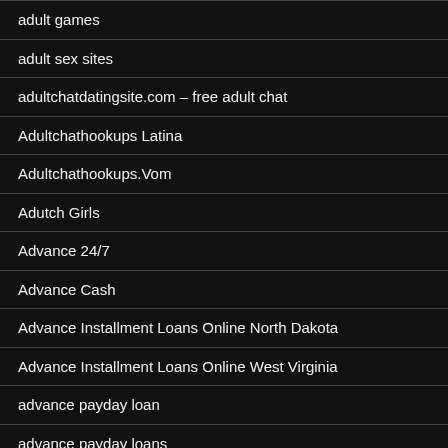adult games
adult sex sites
adultchatdatingsite.com – free adult chat
Adultchathookups Latina
Adultchathookups.Vom
Adutch Girls
Advance 24/7
Advance Cash
Advance Installment Loans Online North Dakota
Advance Installment Loans Online West Virginia
advance payday loan
advance payday loans